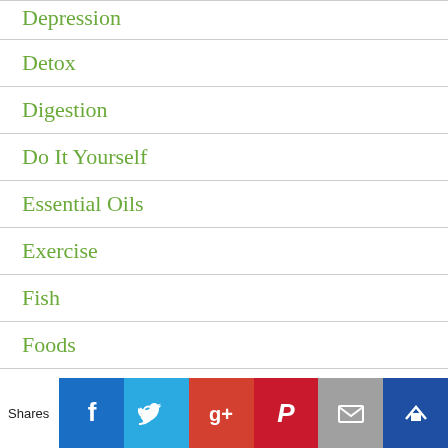Depression
Detox
Digestion
Do It Yourself
Essential Oils
Exercise
Fish
Foods
Gifts
Gluten Sensitivity